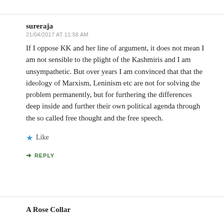sureraja
21/04/2017 AT 11:58 AM
If I oppose KK and her line of argument, it does not mean I am not sensible to the plight of the Kashmiris and I am unsympathetic. But over years I am convinced that that the ideology of Marxism, Leninism etc are not for solving the problem permanently, but for furthering the differences deep inside and further their own political agenda through the so called free thought and the free speech.
Like
REPLY
A Rose Collar